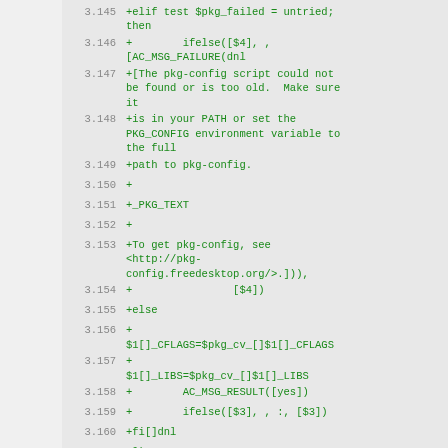[Figure (screenshot): Code diff snippet showing lines 3.145 through 3.161 of a shell/autoconf script with green added lines on a light gray background. Lines include elif/then/ifelse/AC_MSG_FAILURE constructs for pkg-config detection.]